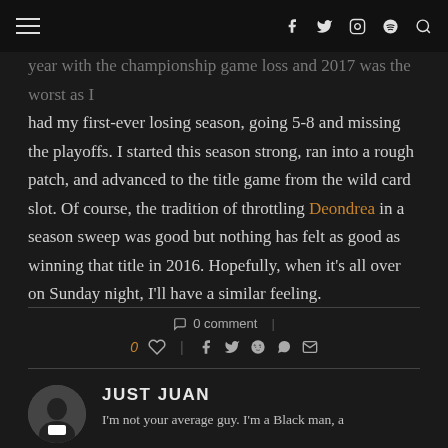Navigation bar with hamburger menu and social icons (Facebook, Twitter, Instagram, Spotify, Search)
year with the championship game loss and 2017 was the worst as I had my first-ever losing season, going 5-8 and missing the playoffs. I started this season strong, ran into a rough patch, and advanced to the title game from the wild card slot. Of course, the tradition of throttling Deondrea in a season sweep was good but nothing has felt as good as winning that title in 2016. Hopefully, when it's all over on Sunday night, I'll have a similar feeling.
0 comment
0
JUST JUAN
I'm not your average guy. I'm a Black man, a